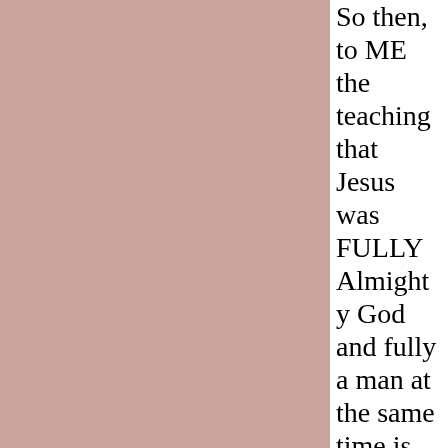[Figure (other): Pink/mauve colored rectangular panel occupying the left two-thirds of the page]
So then, to ME the teaching that Jesus was FULLY Almighty God and fully a man at the same time is ANTICHRIST or anti-ANOINTING which is NOT of